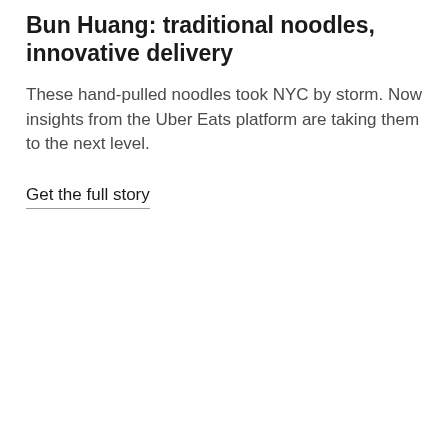Bun Huang: traditional noodles, innovative delivery
These hand-pulled noodles took NYC by storm. Now insights from the Uber Eats platform are taking them to the next level.
Get the full story